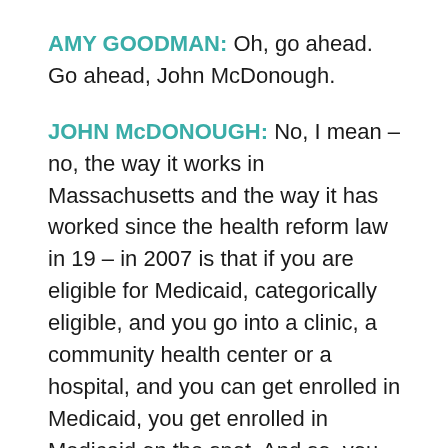AMY GOODMAN: Oh, go ahead. Go ahead, John McDonough.
JOHN McDONOUGH: No, I mean – no, the way it works in Massachusetts and the way it has worked since the health reform law in 19 – in 2007 is that if you are eligible for Medicaid, categorically eligible, and you go into a clinic, a community health center or a hospital, and you can get enrolled in Medicaid, you get enrolled in Medicaid on the spot. And so, you walk in – so, yeah, you were uninsured. You need medical services, you go in, and you're covered. So